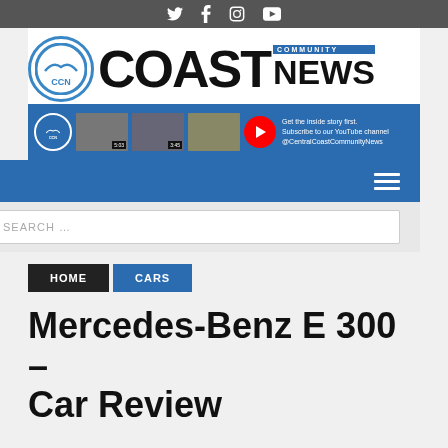Social media icons: Twitter, Facebook, Instagram, YouTube
[Figure (logo): Coast Community News logo with CCN circle emblem and large COAST NEWS text with COMMUNITY label]
[Figure (infographic): YouTube channel promotion banner for CentralCoastCommunityNews with video thumbnails and subscribe call to action]
[Figure (screenshot): Navigation bar with hamburger menu icon on blue background]
[Figure (screenshot): Search bar with placeholder text SEARCH ...]
HOME
CARS
Mercedes-Benz E 300 – Car Review